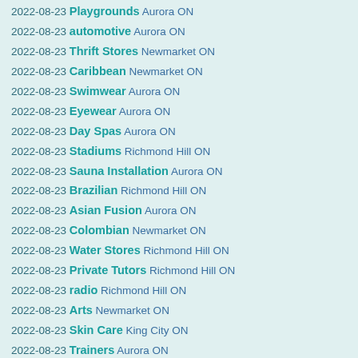2022-08-23 Playgrounds Aurora ON
2022-08-23 automotive Aurora ON
2022-08-23 Thrift Stores Newmarket ON
2022-08-23 Caribbean Newmarket ON
2022-08-23 Swimwear Aurora ON
2022-08-23 Eyewear Aurora ON
2022-08-23 Day Spas Aurora ON
2022-08-23 Stadiums Richmond Hill ON
2022-08-23 Sauna Installation Aurora ON
2022-08-23 Brazilian Richmond Hill ON
2022-08-23 Asian Fusion Aurora ON
2022-08-23 Colombian Newmarket ON
2022-08-23 Water Stores Richmond Hill ON
2022-08-23 Private Tutors Richmond Hill ON
2022-08-23 radio Richmond Hill ON
2022-08-23 Arts Newmarket ON
2022-08-23 Skin Care King City ON
2022-08-23 Trainers Aurora ON
2022-08-23 Auto Loan Providers Aurora ON
2022-08-23 Decks Newmarket ON
2022-08-23 Hockey Equipment Newmarket ON
2022-08-23 Specialty Food Aurora ON